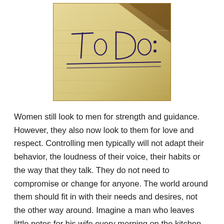[Figure (photo): A close-up photograph of a yellow legal notepad with handwritten text reading 'To Do:' in dark ink, with underline strokes beneath the text.]
Women still look to men for strength and guidance. However, they also now look to them for love and respect. Controlling men typically will not adapt their behavior, the loudness of their voice, their habits or the way that they talk. They do not need to compromise or change for anyone. The world around them should fit in with their needs and desires, not the other way around. Imagine a man who leaves little notes for his wife every morning on the kitchen table. Ah, don't be the romantic and think even